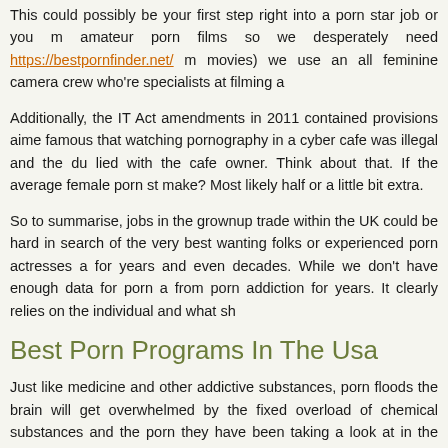This could possibly be your first step right into a porn star job or you might amateur porn films so we desperately need https://bestpornfinder.net/ movies) we use an all feminine camera crew who're specialists at filming a
Additionally, the IT Act amendments in 2011 contained provisions aimed famous that watching pornography in a cyber cafe was illegal and the du lied with the cafe owner. Think about that. If the average female porn st make? Most likely half or a little bit extra.
So to summarise, jobs in the grownup trade within the UK could be hard in search of the very best wanting folks or experienced porn actresses a for years and even decades. While we don't have enough data for porn a from porn addiction for years. It clearly relies on the individual and what sh
Best Porn Programs In The Usa
Just like medicine and other addictive substances, porn floods the brain will get overwhelmed by the fixed overload of chemical substances and the porn they have been taking a look at in the beginning does not seem a or more hardcore porn to get the same rush. Ultimately, the chemical lau register. This leaves the user feeling down or uneasy at any time when the
The option to have engineering as a significant will not always come u examine diligently throughout your elementary and highschool years. You faculty until the end of high school. Start going to the library as effectively will go excessive. In case you're born with low good stats, you can at sufficient.
Related posts:
1. Best Free Porn Works Only Under These Conditions